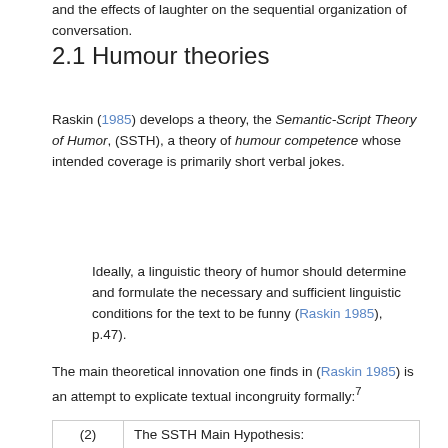and the effects of laughter on the sequential organization of conversation.
2.1 Humour theories
Raskin (1985) develops a theory, the Semantic-Script Theory of Humor, (SSTH), a theory of humour competence whose intended coverage is primarily short verbal jokes.
Ideally, a linguistic theory of humor should determine and formulate the necessary and sufficient linguistic conditions for the text to be funny (Raskin 1985), p.47).
The main theoretical innovation one finds in (Raskin 1985) is an attempt to explicate textual incongruity formally:⁷
| (2) | The SSTH Main Hypothesis: |
| --- | --- |